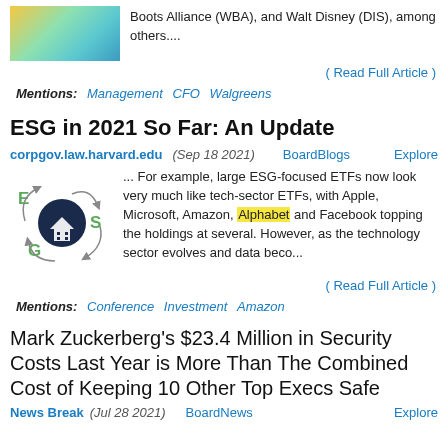Boots Alliance (WBA), and Walt Disney (DIS), among others....
( Read Full Article )
Mentions: Management  CFO  Walgreens
ESG in 2021 So Far: An Update
corpgov.law.harvard.edu (Sep 18 2021)   BoardBlogs   Explore
[Figure (illustration): ESG circular diagram with E, S, G letters and a dark blue circle with a building icon in the center, arrows cycling around]
... For example, large ESG-focused ETFs now look very much like tech-sector ETFs, with Apple, Microsoft, Amazon, Alphabet and Facebook topping the holdings at several. However, as the technology sector evolves and data beco...
( Read Full Article )
Mentions: Conference  Investment  Amazon
Mark Zuckerberg's $23.4 Million in Security Costs Last Year is More Than The Combined Cost of Keeping 10 Other Top Execs Safe
News Break (Jul 28 2021)   BoardNews   Explore